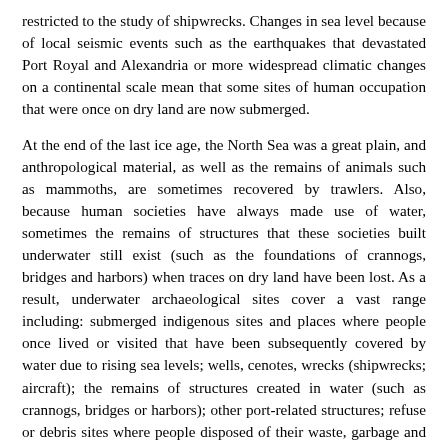restricted to the study of shipwrecks. Changes in sea level because of local seismic events such as the earthquakes that devastated Port Royal and Alexandria or more widespread climatic changes on a continental scale mean that some sites of human occupation that were once on dry land are now submerged.
At the end of the last ice age, the North Sea was a great plain, and anthropological material, as well as the remains of animals such as mammoths, are sometimes recovered by trawlers. Also, because human societies have always made use of water, sometimes the remains of structures that these societies built underwater still exist (such as the foundations of crannogs, bridges and harbors) when traces on dry land have been lost. As a result, underwater archaeological sites cover a vast range including: submerged indigenous sites and places where people once lived or visited that have been subsequently covered by water due to rising sea levels; wells, cenotes, wrecks (shipwrecks; aircraft); the remains of structures created in water (such as crannogs, bridges or harbors); other port-related structures; refuse or debris sites where people disposed of their waste, garbage and other items, such as ships, aircraft, munitions and machinery, by dumping into the water.
Underwater archaeology is often complementary to archaeological research on terrestrial sites because the two are often linked by many and various elements including geographic, social, political,